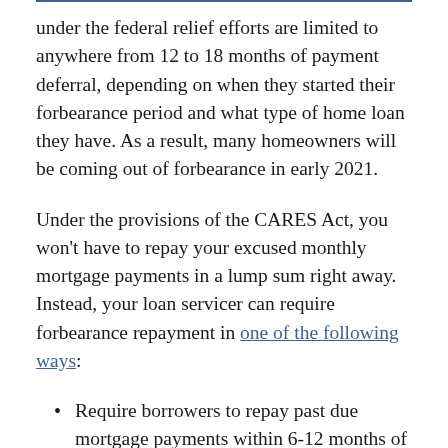under the federal relief efforts are limited to anywhere from 12 to 18 months of payment deferral, depending on when they started their forbearance period and what type of home loan they have. As a result, many homeowners will be coming out of forbearance in early 2021.
Under the provisions of the CARES Act, you won't have to repay your excused monthly mortgage payments in a lump sum right away. Instead, your loan servicer can require forbearance repayment in one of the following ways:
Require borrowers to repay past due mortgage payments within 6-12 months of the forbearance period ending (six months for federally-backed mortgage loans and 12 for Fannie Mae or Freddie